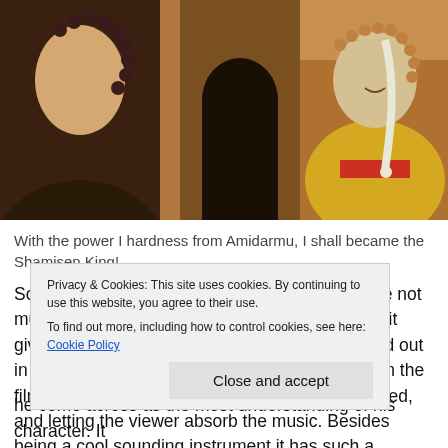[Figure (illustration): Anime-style illustration showing two characters: one wearing dark prayer beads on the left, and an elderly figure with white hair in a braid wearing yellow robes on the right, set against a warm amber/brown background.]
With the power I hardness from Amidarmu, I shall became the Shamisen King!
Sounds though is the one area it excels in. While not much of a listener to traditional Japanese music it gives the film it's own identity where it can't stand out in other areas. The noteworthy pieces of music in the film is obviously whenever the Shamisen is in used, and letting the viewer absorb the music. Besides being a cool sounding instrument it has such a
he come across as the most understanding of his character. It
Privacy & Cookies: This site uses cookies. By continuing to use this website, you agree to their use.
To find out more, including how to control cookies, see here: Cookie Policy
Close and accept